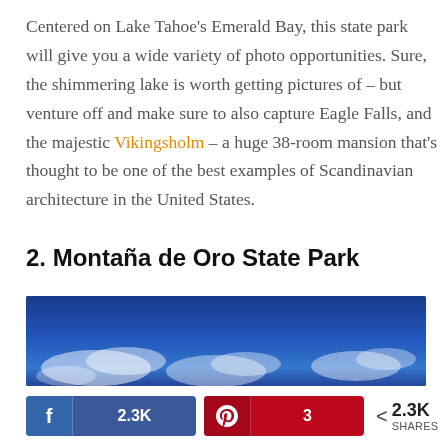Centered on Lake Tahoe's Emerald Bay, this state park will give you a wide variety of photo opportunities. Sure, the shimmering lake is worth getting pictures of – but venture off and make sure to also capture Eagle Falls, and the majestic Vikingsholm – a huge 38-room mansion that's thought to be one of the best examples of Scandinavian architecture in the United States.
2. Montaña de Oro State Park
[Figure (photo): Partial photo of a blue sky with white clouds — the top portion of a landscape photo for Montaña de Oro State Park.]
f 2.3K   [Pinterest icon] 3   < 2.3K SHARES